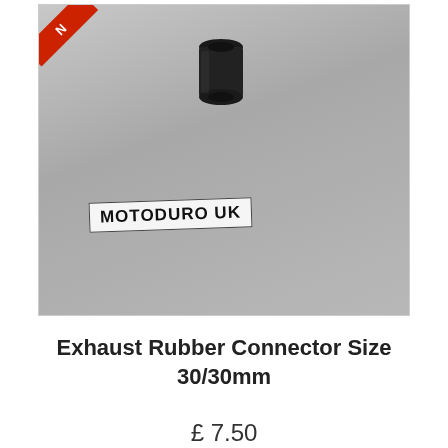[Figure (photo): Product photo of a black rubber exhaust connector/coupler piece placed on a light grey surface next to a MOTODURO UK brand label. A red 'NEW' ribbon badge is visible in the top-left corner of the image.]
Exhaust Rubber Connector Size 30/30mm
£ 7.50
Add to cart  More
+ Add to Compare